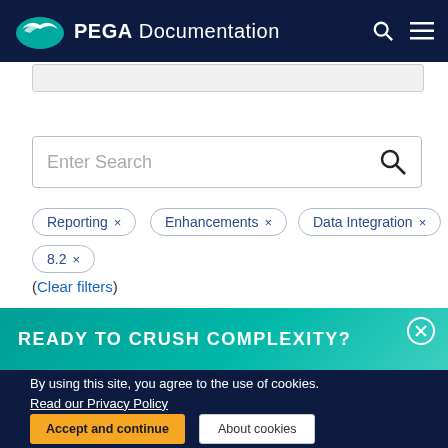PEGA Documentation
[Figure (screenshot): Partial search bar at top of content area]
[Figure (screenshot): Search bar with placeholder text 'Enter Search' and search icon]
Reporting ×
Enhancements ×
Data Integration ×
8.2 ×
(Clear filters)
READY TO CRUSH COMPLEXITY?
By using this site, you agree to the use of cookies.
Read our Privacy Policy
Accept and continue
About cookies